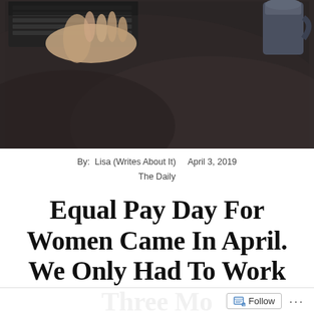[Figure (photo): Photo showing a person's hand on a laptop keyboard on a dark carpet, with a mug visible in the upper right corner]
By:  Lisa (Writes About It)     April 3, 2019
The Daily
Equal Pay Day For Women Came In April. We Only Had To Work Three Mo...